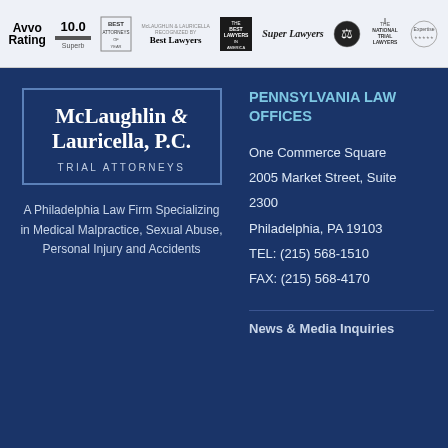[Figure (logo): Awards bar with multiple legal rating logos: Avvo Rating 10.0 Superb, Best Attorneys, McLaughlin & Lauricella Best Lawyers, The Best Lawyers in America, Super Lawyers, scales of justice seal, National Trial Lawyers, Expertise]
[Figure (logo): McLaughlin & Lauricella, P.C. Trial Attorneys logo in a box]
A Philadelphia Law Firm Specializing in Medical Malpractice, Sexual Abuse, Personal Injury and Accidents
PENNSYLVANIA LAW OFFICES
One Commerce Square
2005 Market Street, Suite 2300
Philadelphia, PA 19103
TEL: (215) 568-1510
FAX: (215) 568-4170
News & Media Inquiries